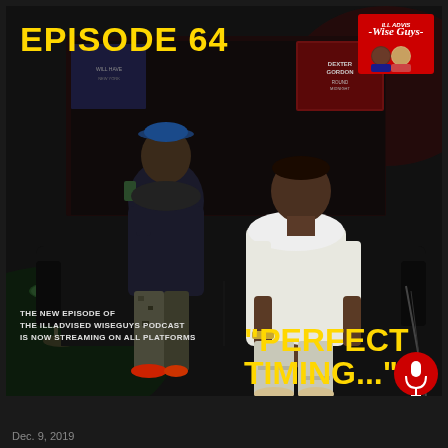[Figure (photo): Podcast episode cover photo showing two men seated on a dark sofa/couch in a dimly lit room with movie posters in the background. One man wears a blue hoodie and camo pants with a blue hat, the other wears a white t-shirt and light jeans. The image has overlaid text including episode number, episode title, and podcast information.]
EPISODE 64
"PERFECT TIMING"
THE NEW EPISODE OF THE ILLADVISED WISEGUYS PODCAST IS NOW STREAMING ON ALL PLATFORMS
Dec. 9, 2019